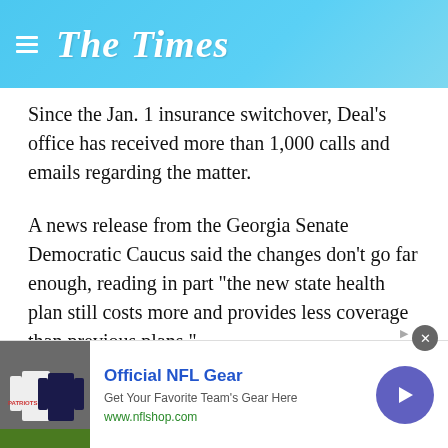The Times
Since the Jan. 1 insurance switchover, Deal's office has received more than 1,000 calls and emails regarding the matter.
A news release from the Georgia Senate Democratic Caucus said the changes don't go far enough, reading in part “the new state health plan still costs more and provides less coverage than previous plans.”
Democrats have asked for the passage of Senate Bill 328, which would require at least two provider choices in the selection of state health plans.
[Figure (screenshot): Advertisement banner: Official NFL Gear - Get Your Favorite Team's Gear Here, www.nflshop.com, with NFL jersey image and arrow button]